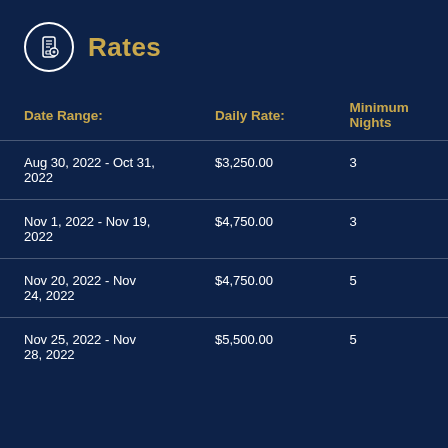Rates
| Date Range: | Daily Rate: | Minimum Nights |
| --- | --- | --- |
| Aug 30, 2022 - Oct 31, 2022 | $3,250.00 | 3 |
| Nov 1, 2022 - Nov 19, 2022 | $4,750.00 | 3 |
| Nov 20, 2022 - Nov 24, 2022 | $4,750.00 | 5 |
| Nov 25, 2022 - Nov 28, 2022 | $5,500.00 | 5 |